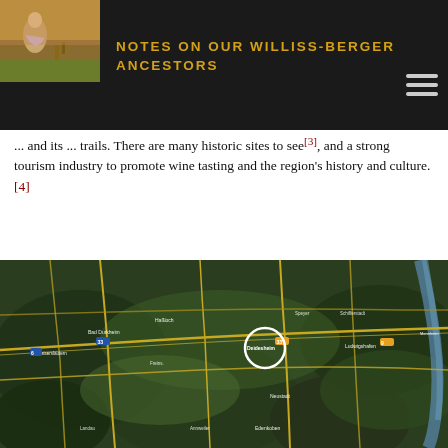[Figure (photo): Small painting/illustration of a figure in a field, top-left corner]
NOTES ON OUR WILLISS-BERGER ANCESTORS
...ine and tourism.[2] Deidesheim, as with other villages along the Weinstrasse, has almost ... and its ... trails. There are many historic sites to see[3], and a strong tourism industry to promote wine tasting and the region's history and culture.[4]
[Figure (map): Satellite/aerial map showing the Deidesheim region in Germany, with a white circle highlighting the location of Deidesheim. Shows surrounding towns including Bad Durkheim, Neustadt, Edenkoben, and others. Green forested hills visible.]